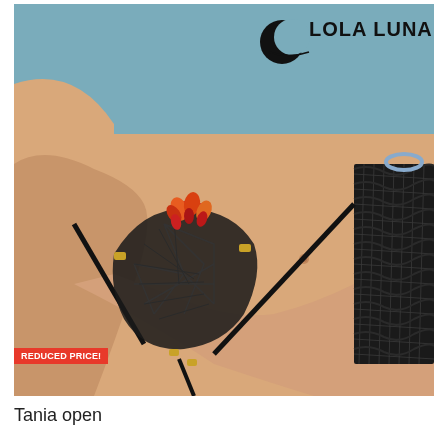[Figure (photo): Product photo of Lola Luna lingerie item 'Tania open'. Close-up of a woman's torso wearing a black lace and mesh thong with colorful orange and red floral embroidery and gold hardware. A black crochet/net fabric panel is visible on the right side. The Lola Luna brand logo (crescent moon design with text) is visible in the upper right of the image on a muted blue background. A red 'REDUCED PRICE!' badge overlays the lower-left corner of the image.]
REDUCED PRICE!
Tania open